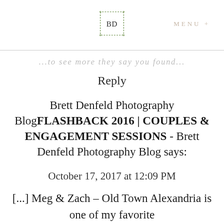BD | MENU +
...to see more they say you found...
Reply
Brett Denfeld Photography BlogFLASHBACK 2016 | COUPLES & ENGAGEMENT SESSIONS - Brett Denfeld Photography Blog says:
October 17, 2017 at 12:09 PM
[...] Meg & Zach – Old Town Alexandria is one of my favorite